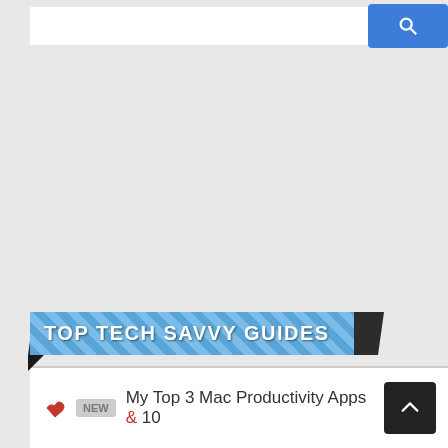[Figure (screenshot): Search bar with white input field and blue search button with magnifying glass icon]
TOP TECH SAVVY GUIDES
My Top 3 Mac Productivity Apps & 10